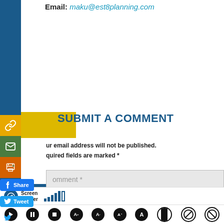Email: maku@est8planning.com
SUBMIT A COMMENT
Your email address will not be published. Required fields are marked *
Comment *
Screen Reader [accessibility bar with controls]